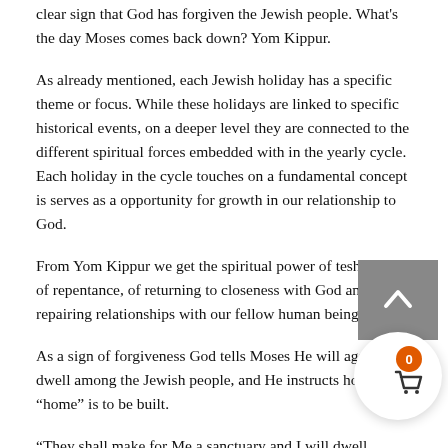clear sign that God has forgiven the Jewish people. What's the day Moses comes back down? Yom Kippur.
As already mentioned, each Jewish holiday has a specific theme or focus. While these holidays are linked to specific historical events, on a deeper level they are connected to the different spiritual forces embedded with in the yearly cycle. Each holiday in the cycle touches on a fundamental concept is serves as a opportunity for growth in our relationship to God.
From Yom Kippur we get the spiritual power of teshuva — of repentance, of returning to closeness with God and repairing relationships with our fellow human beings.
As a sign of forgiveness God tells Moses He will again dwell among the Jewish people, and He instructs how His “home” is to be built.
“They shall make for Me a sanctuary and I will dwell among them.” (Exodus 25:8)
Following this command, the Torah spends many chapters giving intricate descriptions just exactly how to build this portable sanctuary.